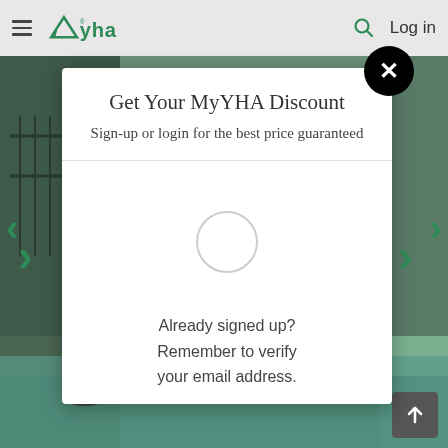YHA — Log in
[Figure (screenshot): Background photo of outdoor pool area with people, greenery and fence visible on both sides of modal]
Get Your MyYHA Discount
Sign-up or login for the best price guaranteed
Already signed up? Remember to verify your email address.